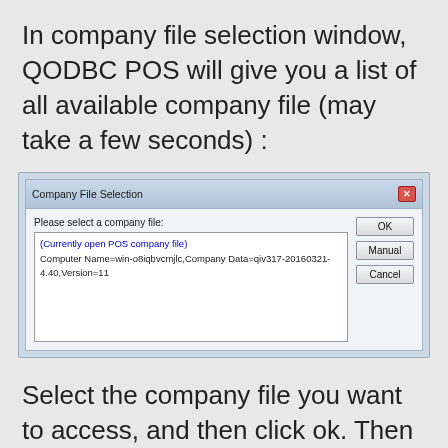In company file selection window, QODBC POS will give you a list of all available company file (may take a few seconds) :
[Figure (screenshot): Windows dialog box titled 'Company File Selection' showing a listbox with '(Currently open POS company file)' and 'Computer Name=win-o8iqbvcmjlc,Company Data=qiv317-20160321-4.40,Version=11', with buttons OK, Manual, Cancel]
Select the company file you want to access, and then click ok. Then you will see the connection string has been built in